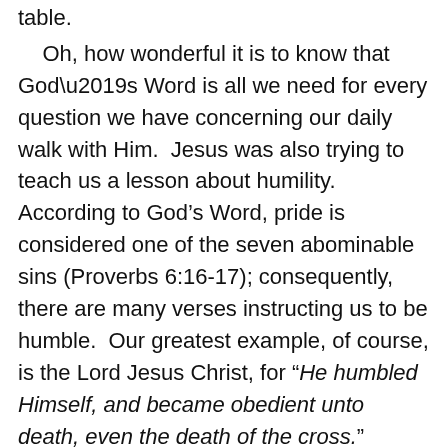table.
Oh, how wonderful it is to know that God’s Word is all we need for every question we have concerning our daily walk with Him.  Jesus was also trying to teach us a lesson about humility.  According to God’s Word, pride is considered one of the seven abominable sins (Proverbs 6:16-17); consequently, there are many verses instructing us to be humble.  Our greatest example, of course, is the Lord Jesus Christ, for “He humbled Himself, and became obedient unto death, even the death of the cross.”  Philippians 2:8a